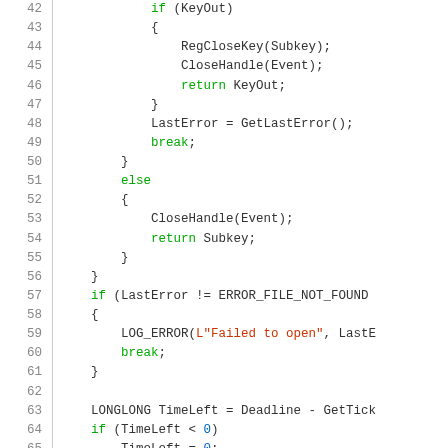[Figure (screenshot): Source code listing showing lines 42-68 of C/C++ code with syntax highlighting. Green keywords (if, else, return, break), red string literals. Code shows registry key handling, error checking, and wait-for-single-object logic.]